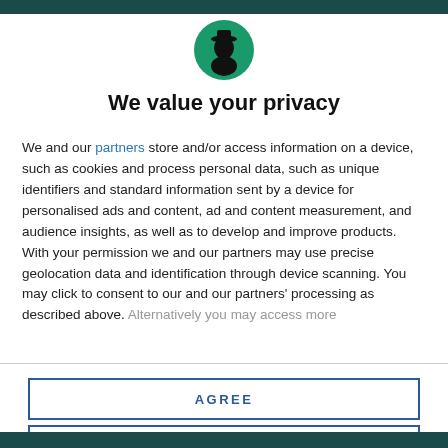[Figure (logo): Circular green logo with black silhouette of a person wearing a hat (Ancestry-style logo)]
We value your privacy
We and our partners store and/or access information on a device, such as cookies and process personal data, such as unique identifiers and standard information sent by a device for personalised ads and content, ad and content measurement, and audience insights, as well as to develop and improve products. With your permission we and our partners may use precise geolocation data and identification through device scanning. You may click to consent to our and our partners' processing as described above. Alternatively you may access more
AGREE
MORE OPTIONS